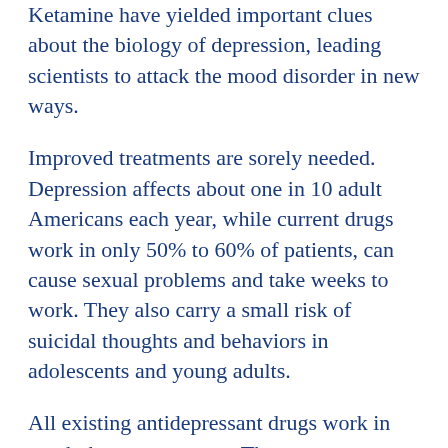Ketamine have yielded important clues about the biology of depression, leading scientists to attack the mood disorder in new ways.
Improved treatments are sorely needed. Depression affects about one in 10 adult Americans each year, while current drugs work in only 50% to 60% of patients, can cause sexual problems and take weeks to work. They also carry a small risk of suicidal thoughts and behaviors in adolescents and young adults.
All existing antidepressant drugs work in much the same manner. They act on a handful of neurotransmitters — brain chemicals that pass messages along defined pathways — that belong to a family called monoamines and circulate in a relatively